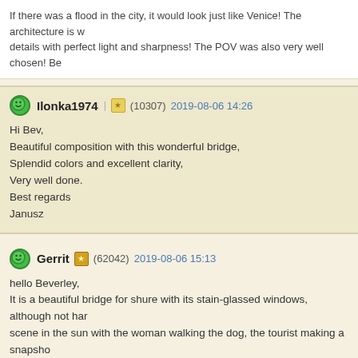If there was a flood in the city, it would look just like Venice! The architecture is w... details with perfect light and sharpness! The POV was also very well chosen! Be...
Ilonka1974 (10307) 2019-08-06 14:26
Hi Bev,
Beautiful composition with this wonderful bridge,
Splendid colors and excellent clarity,
Very well done.
Best regards
Janusz
Gerrit (62042) 2019-08-06 15:13
hello Beverley,
It is a beautiful bridge for shure with its stain-glassed windows, although not har... scene in the sun with the woman walking the dog, the tourist making a snapsho... on the left
Thanks and regards,
Gerrit
ifege (49721) 2019-08-06 20:51
Hi B...